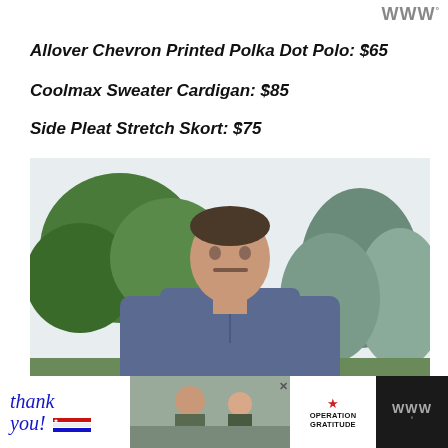W°
Allover Chevron Printed Polka Dot Polo: $65
Coolmax Sweater Cardigan: $85
Side Pleat Stretch Skort: $75
[Figure (photo): Man wearing a blue polo shirt standing outdoors with green trees in the background]
[Figure (photo): Advertisement banner: Thank You with American flag graphic, military personnel photo, and Operation Gratitude logo]